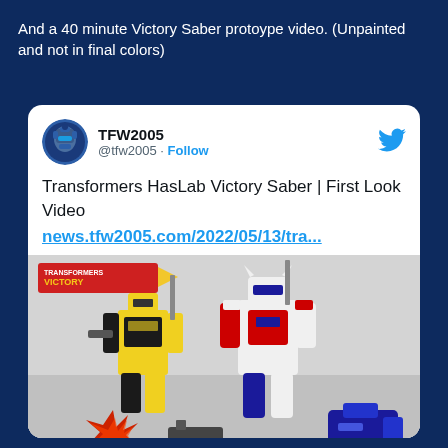And a 40 minute Victory Saber protoype video. (Unpainted and not in final colors)
[Figure (screenshot): Embedded tweet from @TFW2005 showing a post about Transformers HasLab Victory Saber First Look Video with a photo of two Transformer toy prototypes (one yellow/black and one red/white/blue) along with accessories on a white surface. Link shown: news.tfw2005.com/2022/05/13/tra...]